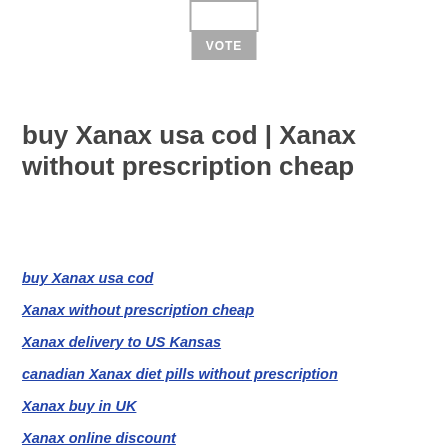[Figure (other): Vote widget with input box and VOTE button]
buy Xanax usa cod | Xanax without prescription cheap
buy Xanax usa cod
Xanax without prescription cheap
Xanax delivery to US Kansas
canadian Xanax diet pills without prescription
Xanax buy in UK
Xanax online discount
Xanax to buy
Xanax ups
Xanax overnight no prescription no rx
Xanax cheap overnight delivery
Xanax 1 day delivery